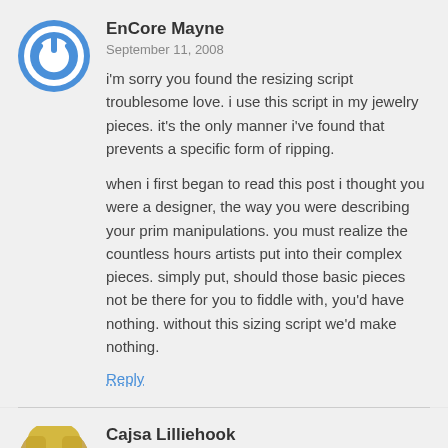[Figure (logo): Blue circular power button icon avatar for EnCore Mayne]
EnCore Mayne
September 11, 2008
i'm sorry you found the resizing script troublesome love. i use this script in my jewelry pieces. it's the only manner i've found that prevents a specific form of ripping.
when i first began to read this post i thought you were a designer, the way you were describing your prim manipulations. you must realize the countless hours artists put into their complex pieces. simply put, should those basic pieces not be there for you to fiddle with, you'd have nothing. without this sizing script we'd make nothing.
Reply
[Figure (photo): Photo avatar of Cajsa Lilliehook - blonde woman looking upward]
Cajsa Lilliehook
September 11, 2008
I don't want designers to have their hair stolen and copied. but others manage to set up permissions in